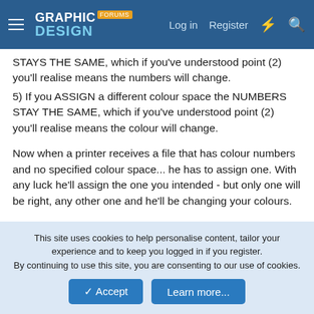GRAPHIC DESIGN FORUMS — Log in | Register
STAYS THE SAME, which if you've understood point (2) you'll realise means the numbers will change.
5) If you ASSIGN a different colour space the NUMBERS STAY THE SAME, which if you've understood point (2) you'll realise means the colour will change.
Now when a printer receives a file that has colour numbers and no specified colour space... he has to assign one. With any luck he'll assign the one you intended - but only one will be right, any other one and he'll be changing your colours.
As far as I'm concerned the designers job is to provide the file that tells me the accurate colours she wants. In any colour space she fancies. My job is to understand the colour I'm being told is wanted, and then to tell my machines the colour that is
This site uses cookies to help personalise content, tailor your experience and to keep you logged in if you register.
By continuing to use this site, you are consenting to our use of cookies.